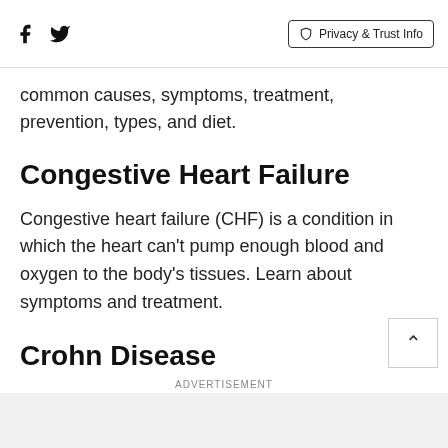Facebook Twitter Privacy & Trust Info
common causes, symptoms, treatment, prevention, types, and diet.
Congestive Heart Failure
Congestive heart failure (CHF) is a condition in which the heart can't pump enough blood and oxygen to the body's tissues. Learn about symptoms and treatment.
Crohn Disease
Crohn's disease (Crohn disease) is an inflammatory bowel disease (IBD), and is a chronic long-term inflammation of the digestive tract. The cause of Crohn's disease is unknown. Symptoms of Crohn's
ADVERTISEMENT